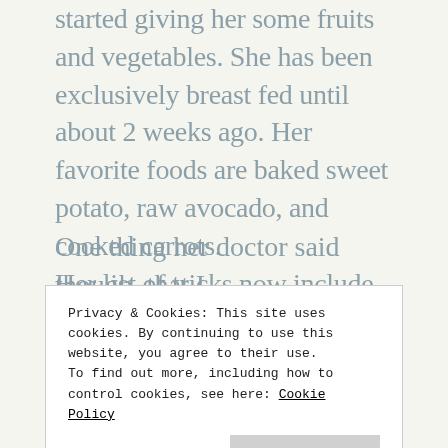started giving her some fruits and vegetables. She has been exclusively breast fed until about 2 weeks ago. Her favorite foods are baked sweet potato, raw avocado, and cooked carrots. Her list of tricks now include sitting up, walking in her walker, and she is becoming very vocal. She is a lot of fun these days!
One thing her doctor said though, that I
Privacy & Cookies: This site uses cookies. By continuing to use this website, you agree to their use.
To find out more, including how to control cookies, see here: Cookie Policy
Close and accept